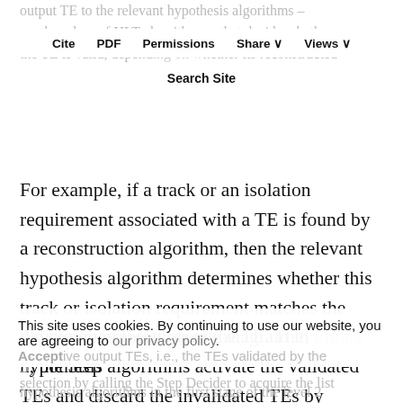output TE to the relevant hypothesis algorithms – another class of HLT algorithms – that decide whether the TE is valid, depending on whether its reconstructed features are consistent with its physics interpretation.
Cite   PDF   Permissions   Share ∨   Views ∨
Search Site
For example, if a track or an isolation requirement associated with a TE is found by a reconstruction algorithm, then the relevant hypothesis algorithm determines whether this track or isolation requirement matches the physics interpretation of the TE. The hypothesis algorithms activate the validated TEs and discard the invalidated TEs by deactivating them.
As shown in the sequence diagram in Figure 3, the Step Handler initiates the second stage of the level 2 selection by calling the Step Decider to acquire the list of active output TEs, i.e., the TEs validated by the hypothesis algorithms in the first stage of the level 2
This site uses cookies. By continuing to use our website, you are agreeing to our privacy policy. Accept